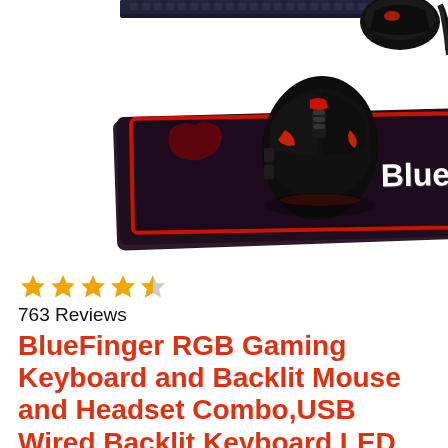[Figure (photo): Product photo showing a black and red gaming mouse with orange/red LED accents sitting on a BlueFinger branded gaming mouse pad (dark with red border and BlueFinger logo). A second device (mouse or gamepad) is partially visible at the top right with a cable. Top portion shows part of a keyboard or other gaming peripheral.]
763 Reviews
BlueFinger RGB Gaming Keyboard and Backlit Mouse and Headset Combo,USB Wired Backlit Keyboard LED Gaming